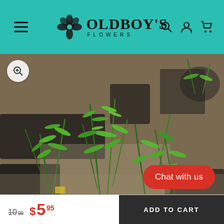OLDBOY'S FLOWERS
[Figure (photo): Close-up photo of rosemary or similar narrow-leaved green plants growing in black plastic nursery trays on sandy ground, viewed from above in bright sunlight.]
Chat with us
$10.99  $5.95  ADD TO CART